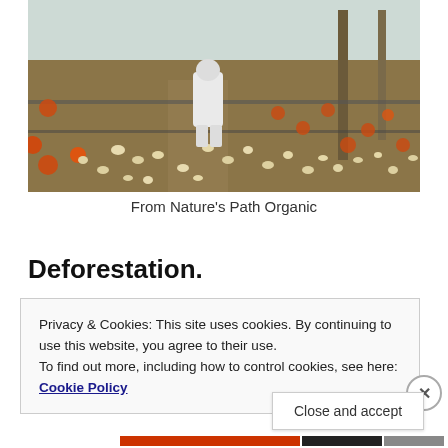[Figure (photo): Interior of a poultry farm showing a worker in white protective suit walking among thousands of young chickens (chicks) in a large enclosed facility with orange feeding/watering stations and piping systems on the floor.]
From Nature’s Path Organic
Deforestation.
Privacy & Cookies: This site uses cookies. By continuing to use this website, you agree to their use.
To find out more, including how to control cookies, see here: Cookie Policy
Close and accept